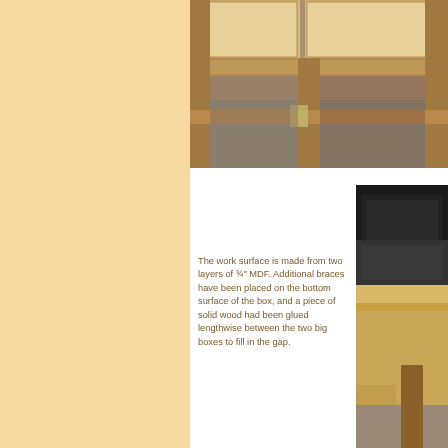[Figure (photo): Close-up photograph of wooden furniture piece showing drawer frames and cross-bracing structure viewed from below/side, natural oak wood construction on concrete floor]
[Figure (photo): Photograph of workbench top surface showing MDF work surface and wooden leg structure, with a dark equipment case visible on the left side]
The work surface is made from two layers of ¾" MDF. Additional braces have been placed on the bottom surface of the box, and a piece of solid wood had been glued lengthwise between the two big boxes to fill in the gap.